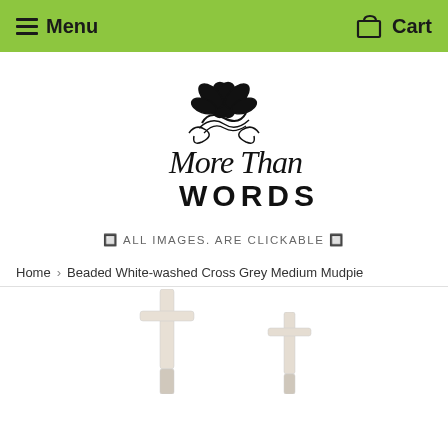Menu   Cart
[Figure (logo): More Than Words logo with decorative floral/leaf motif above cursive 'More Than' text and bold 'WORDS' below]
🔲 ALL IMAGES. ARE CLICKABLE 🔲
Home › Beaded White-washed Cross Grey Medium Mudpie
[Figure (photo): Product images of Beaded White-washed Cross Grey Medium Mudpie items, two partially visible white/cream cross products at bottom of page]